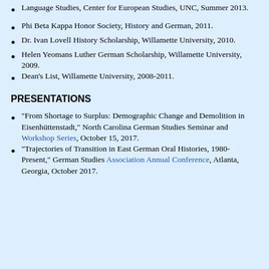Language Studies, Center for European Studies, UNC, Summer 2013.
Phi Beta Kappa Honor Society, History and German, 2011.
Dr. Ivan Lovell History Scholarship, Willamette University, 2010.
Helen Yeomans Luther German Scholarship, Willamette University, 2009.
Dean's List, Willamette University, 2008-2011.
PRESENTATIONS
"From Shortage to Surplus: Demographic Change and Demolition in Eisenhüttenstadt," North Carolina German Studies Seminar and Workshop Series, October 15, 2017.
"Trajectories of Transition in East German Oral Histories, 1980-Present," German Studies Association Annual Conference, Atlanta, Georgia, October 2017.